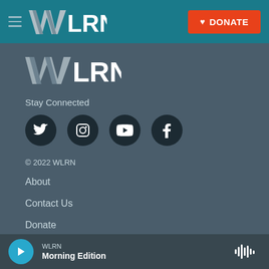WLRN | DONATE
[Figure (logo): WLRN logo in main body area]
Stay Connected
[Figure (illustration): Social media icons: Twitter, Instagram, YouTube, Facebook]
© 2022 WLRN
About
Contact Us
Donate
Underwrite
WLRN Morning Edition